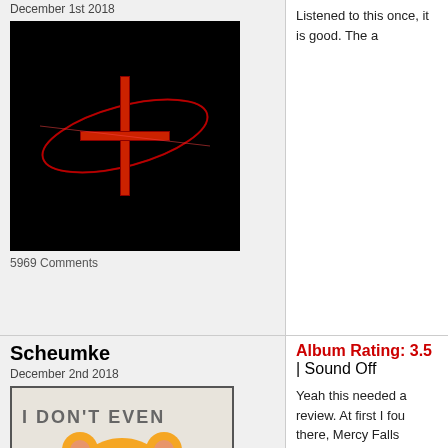December 1st 2018
[Figure (photo): Dark image with red cross/quake logo design]
5969 Comments
Scheumke
December 2nd 2018
[Figure (photo): Winnie the Pooh meme: I DON'T EVEN / GIVE A BOTHER]
2358 Comments
Album Rating: 3.5 | Sound Off
Yeah this needed a review. At first I fou there, Mercy Falls remains one of the b It's good, but not compared to what the
Xenorazr
December 2nd 2018
[Figure (photo): Anime-style character with headphones and white coat]
1466 Comments
Album Rating: 3.5 | Sound Off
TGE felt a bit shaky at first, but each lis have enjoying it as much as I'd like to.